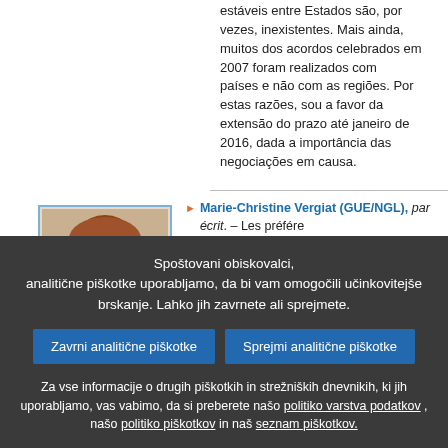estáveis entre Estados são, por vezes, inexistentes. Mais ainda, muitos dos acordos celebrados em 2007 foram realizados com países e não com as regiões. Por estas razões, sou a favor da extensão do prazo até janeiro de 2016, dada a importância das negociações em causa.
[Figure (photo): Portrait photo of Marie-Christine Vergiat, a woman with reddish-brown hair and glasses, wearing a dark top with a patterned scarf.]
Marie-Christine Vergiat (GUE/NGL), par écrit. – Les préférences commerciales dont bénéficient les pays ACP sont une bouée de sauvetage pour certains d'entre eux dont l'économie n'est pas prête à affronter la libéralisation globale et la confrontation totale avec économies développées. Quoi que l'on pense de cette libéralisation forcenée, aux conséquences ravageuses, l'objectif du Parlement européen dans cette résolution est de prolonger la protection dont bénéficient les pays ACP au travers des accords dits préférentiels. Cela n'est guère satisfaisant, mais l'intérêt des pays concernés
Spoštovani obiskovalci,
analitične piškotke uporabljamo, da bi vam omogočili učinkovitejše brskanje. Lahko jih zavrnete ali sprejmete.
Zavrni analitične piškotke
Sprejmi analitične piškotke
Za vse informacije o drugih piškotkih in strežniških dnevnikih, ki jih uporabljamo, vas vabimo, da si preberete našo politiko varstva podatkov , našo politiko piškotkov in naš seznam piškotkov.